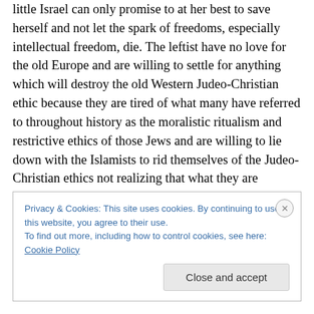little Israel can only promise to at her best to save herself and not let the spark of freedoms, especially intellectual freedom, die. The leftist have no love for the old Europe and are willing to settle for anything which will destroy the old Western Judeo-Christian ethic because they are tired of what many have referred to throughout history as the moralistic ritualism and restrictive ethics of those Jews and are willing to lie down with the Islamists to rid themselves of the Judeo-Christian ethics not realizing that what they are allowing into their bed is something far less understanding and something which will strangle every
Privacy & Cookies: This site uses cookies. By continuing to use this website, you agree to their use.
To find out more, including how to control cookies, see here: Cookie Policy